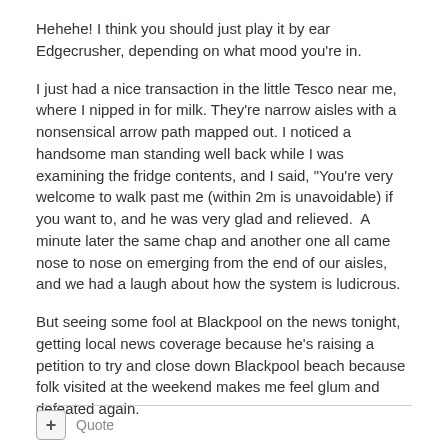Hehehe! I think you should just play it by ear Edgecrusher, depending on what mood you're in.
I just had a nice transaction in the little Tesco near me, where I nipped in for milk. They're narrow aisles with a nonsensical arrow path mapped out. I noticed a handsome man standing well back while I was examining the fridge contents, and I said, "You're very welcome to walk past me (within 2m is unavoidable) if you want to, and he was very glad and relieved.  A minute later the same chap and another one all came nose to nose on emerging from the end of our aisles, and we had a laugh about how the system is ludicrous.
But seeing some fool at Blackpool on the news tonight, getting local news coverage because he's raising a petition to try and close down Blackpool beach because folk visited at the weekend makes me feel glum and defeated again.